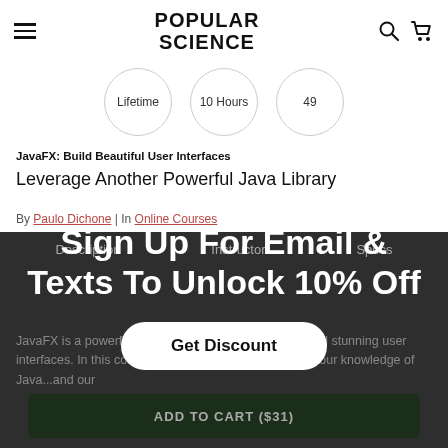POPULAR SCIENCE
[Figure (infographic): Three circular badges showing: Lifetime, 10 Hours, 49]
JavaFX: Build Beautiful User Interfaces
Leverage Another Powerful Java Library
By Paulo Dichone | In Online Courses
Description   Instructor   Specs
[Figure (screenshot): Dark overlay popup with text 'Sign Up For Email & Texts To Unlock 10% Off' and a 'Get Discount' button]
JavaFX is a powerful Java library that can help you build stunning user interfaces. In this course, you'll learn how to leverage your knowledge of Java...and our
ADD TO CART ($31)